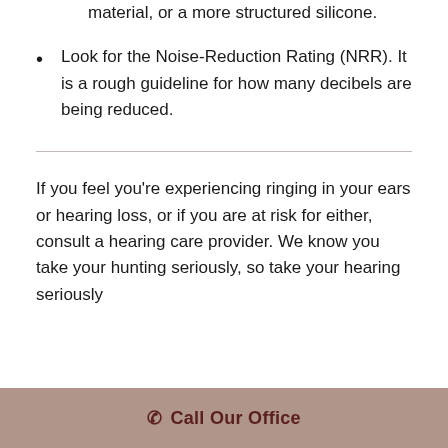material, or a more structured silicone.
Look for the Noise-Reduction Rating (NRR). It is a rough guideline for how many decibels are being reduced.
If you feel you're experiencing ringing in your ears or hearing loss, or if you are at risk for either, consult a hearing care provider. We know you take your hunting seriously, so take your hearing seriously
Call Our Office